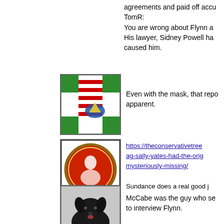agreements and paid off accu TomR: You are wrong about Flynn a His lawyer, Sidney Powell ha caused him.
[Figure (illustration): Avatar image showing a stylized American flag with green corners and an eagle emblem]
Even with the mask, that repo apparent.
[Figure (illustration): Avatar showing a circular red badge/seal with a figure inside, on white background with black border]
https://theconservativetree ag-sally-yates-had-the-orig mysteriously-missing/ Sundance does a real good j
[Figure (photo): Avatar photo showing a black dog]
McCabe was the guy who se to interview Flynn.